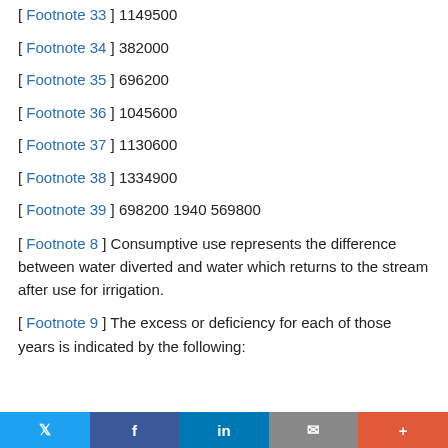[ Footnote 33 ] 1149500
[ Footnote 34 ] 382000
[ Footnote 35 ] 696200
[ Footnote 36 ] 1045600
[ Footnote 37 ] 1130600
[ Footnote 38 ] 1334900
[ Footnote 39 ] 698200 1940 569800
[ Footnote 8 ] Consumptive use represents the difference between water diverted and water which returns to the stream after use for irrigation.
[ Footnote 9 ] The excess or deficiency for each of those years is indicated by the following: